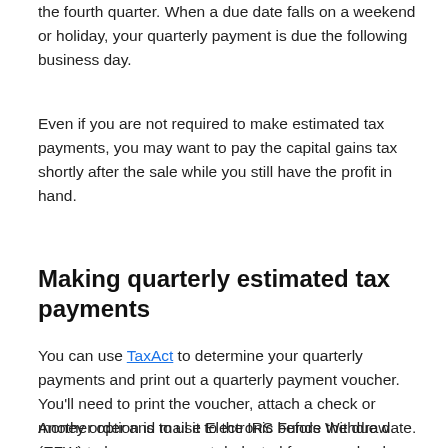the fourth quarter. When a due date falls on a weekend or holiday, your quarterly payment is due the following business day.
Even if you are not required to make estimated tax payments, you may want to pay the capital gains tax shortly after the sale while you still have the profit in hand.
Making quarterly estimated tax payments
You can use TaxAct to determine your quarterly payments and print out a quarterly payment voucher. You'll need to print the voucher, attach a check or money order and mail it to the IRS before the due date.
Another option is to use Electronic Funds Withdraw (EFW) to have a payment deducted from your bank